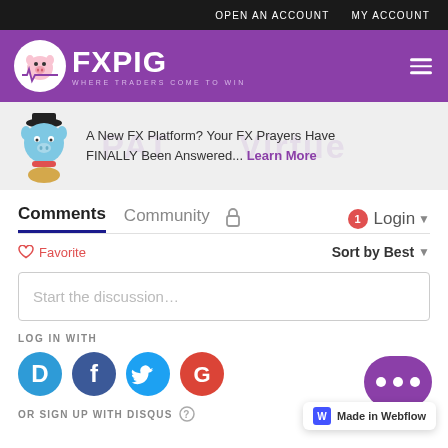OPEN AN ACCOUNT   MY ACCOUNT
[Figure (logo): FXPIG logo — white pig head on purple circle with heartbeat line, large white FXPIG text, tagline WHERE TRADERS COME TO WIN]
[Figure (infographic): Banner ad with cartoon blue genie pig: A New FX Platform? Your FX Prayers Have FINALLY Been Answered... Learn More]
A New FX Platform? Your FX Prayers Have FINALLY Been Answered... Learn More
Comments   Community   Login
♡ Favorite   Sort by Best
Start the discussion…
LOG IN WITH
[Figure (infographic): Social login icons: Disqus (blue D), Facebook (blue f), Twitter (cyan bird), Google (red G)]
OR SIGN UP WITH DISQUS ?
[Figure (other): Purple chat bubble with three dots (ellipsis)]
Made in Webflow